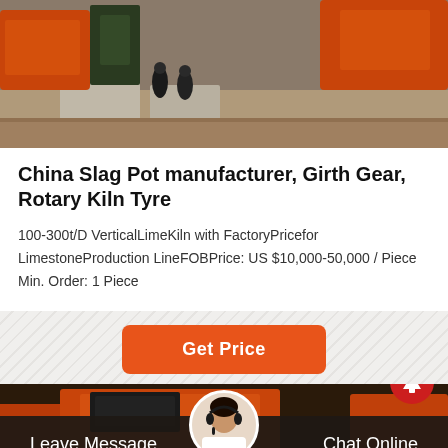[Figure (photo): Industrial construction site with orange heavy machinery and workers in background]
China Slag Pot manufacturer, Girth Gear, Rotary Kiln Tyre
100-300t/D VerticalLimeKiln with FactoryPricefor LimestoneProduction LineFOBPrice: US $10,000-50,000 / Piece Min. Order: 1 Piece
[Figure (other): Get Price button and bottom section with industrial photo, chat avatar, scroll-to-top button, and footer bar with Leave Message and Chat Online]